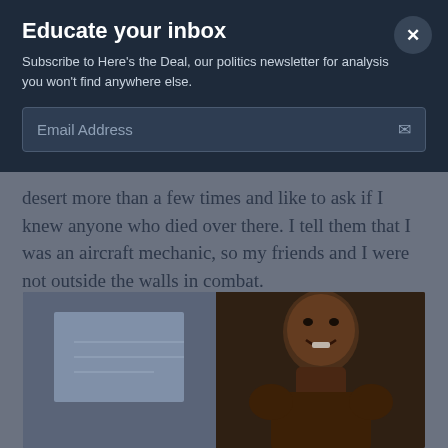Educate your inbox
Subscribe to Here’s the Deal, our politics newsletter for analysis you won’t find anywhere else.
Email Address
desert more than a few times and like to ask if I knew anyone who died over there. I tell them that I was an aircraft mechanic, so my friends and I were not outside the walls in combat.
[Figure (photo): Two-panel photo: left panel shows an indoor scene with whiteboard/wall, right panel shows a smiling man with dark skin tone in a dimly lit setting.]